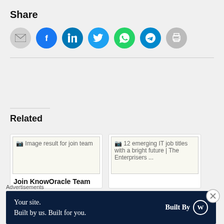Share
[Figure (infographic): Row of social sharing icon buttons: email (gray circle), Facebook (blue circle), LinkedIn (dark teal circle), Twitter (light blue circle), WhatsApp (green circle), Telegram (teal circle), Print (gray circle)]
Related
[Figure (photo): Image result for join team - placeholder broken image]
Join KnowOracle Team
[Figure (photo): 12 emerging IT job titles with a bright future | The Enterprisers ... - placeholder broken image]
Advertisements
[Figure (infographic): Dark navy advertisement banner: 'Your site. Built by us. Built for you.' with 'Built By' and WordPress logo on right]